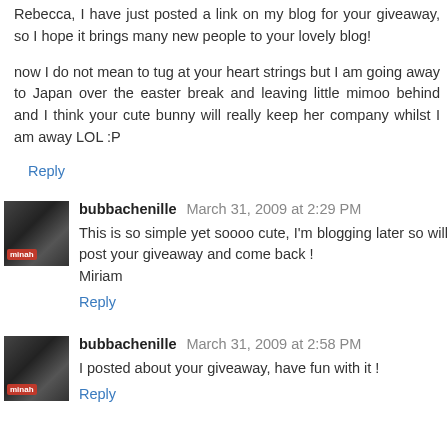Rebecca, I have just posted a link on my blog for your giveaway, so I hope it brings many new people to your lovely blog!
now I do not mean to tug at your heart strings but I am going away to Japan over the easter break and leaving little mimoo behind and I think your cute bunny will really keep her company whilst I am away LOL :P
Reply
[Figure (photo): Avatar thumbnail for bubbachenille - small square image with red label 'minah']
bubbachenille March 31, 2009 at 2:29 PM
This is so simple yet soooo cute, I'm blogging later so will post your giveaway and come back !
Miriam
Reply
[Figure (photo): Avatar thumbnail for bubbachenille - small square image with red label 'minah']
bubbachenille March 31, 2009 at 2:58 PM
I posted about your giveaway, have fun with it !
Reply